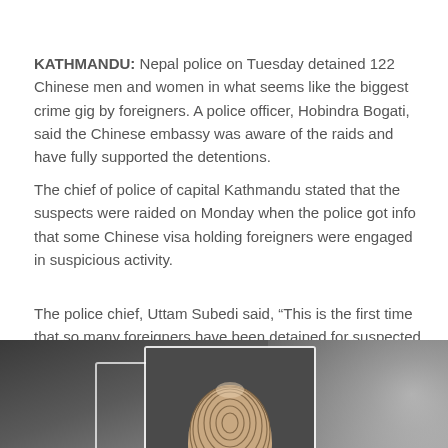KATHMANDU: Nepal police on Tuesday detained 122 Chinese men and women in what seems like the biggest crime gig by foreigners. A police officer, Hobindra Bogati, said the Chinese embassy was aware of the raids and have fully supported the detentions.
The chief of police of capital Kathmandu stated that the suspects were raided on Monday when the police got info that some Chinese visa holding foreigners were engaged in suspicious activity.
The police chief, Uttam Subedi said, “This is the first time that so many foreigners have been detained for suspected criminal activities.”
[Figure (photo): A photo showing a fingerprint displayed on a finger, with a white rectangular frame highlighting it, against a blurred dark background with a person in a suit visible.]